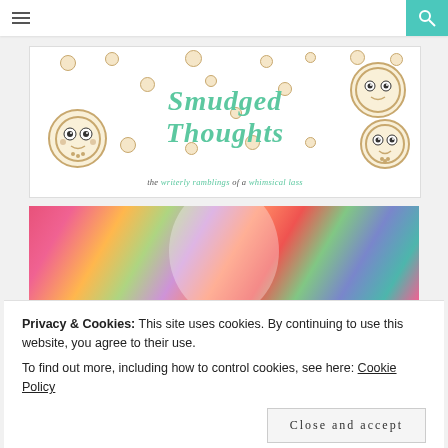Smudged Thoughts — the writerly ramblings of a whimsical lass
[Figure (logo): Smudged Thoughts blog banner with decorative cookie/moon characters and green italic script title]
[Figure (photo): Colorful autumn leaves photo with semi-transparent circular overlay]
Privacy & Cookies: This site uses cookies. By continuing to use this website, you agree to their use.
To find out more, including how to control cookies, see here: Cookie Policy
Close and accept
In Which I Make Absolutely Al...